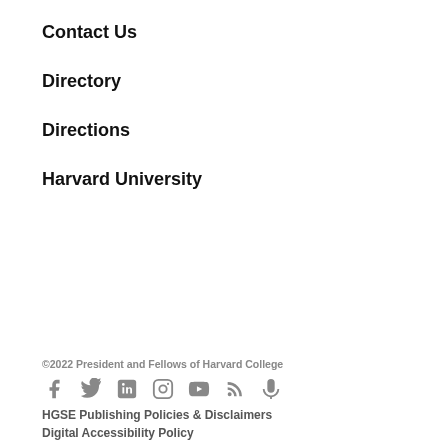Contact Us
Directory
Directions
Harvard University
©2022 President and Fellows of Harvard College
[Figure (infographic): Social media icons: Facebook, Twitter, LinkedIn, Instagram, YouTube, RSS, Microphone/Podcast]
HGSE Publishing Policies & Disclaimers
Digital Accessibility Policy